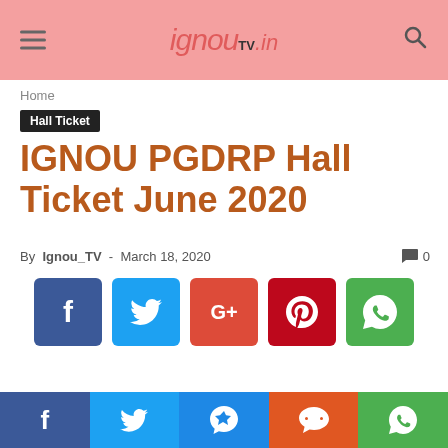ignouTV.in
Home
Hall Ticket
IGNOU PGDRP Hall Ticket June 2020
By Ignou_TV - March 18, 2020   0
[Figure (infographic): Social share buttons: Facebook (blue), Twitter (light blue), Google+ (red), Pinterest (dark red), WhatsApp (green)]
Social share bar: Facebook, Twitter, Messenger, Reddit, WhatsApp